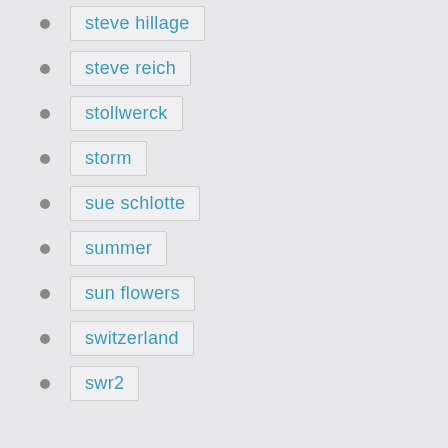steve hillage
steve reich
stollwerck
storm
sue schlotte
summer
sun flowers
switzerland
swr2